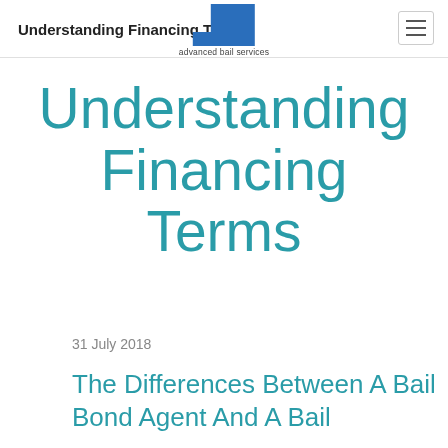Understanding Financing Terms | advanced bail services
Understanding Financing Terms
31 July 2018
The Differences Between A Bail Bond Agent And A Bail